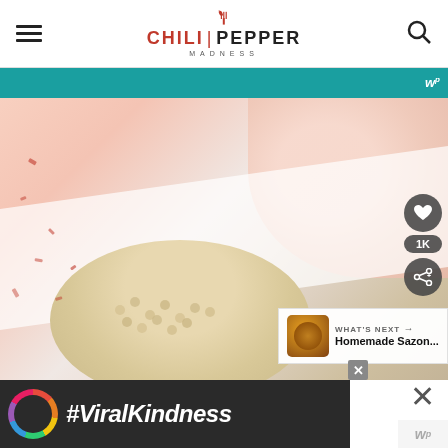Chili Pepper Madness
[Figure (photo): Close-up food photo showing a white bowl with garlic or chickpeas, scattered red pepper flakes on a white surface]
WHAT'S NEXT → Homemade Sazon...
#ViralKindness